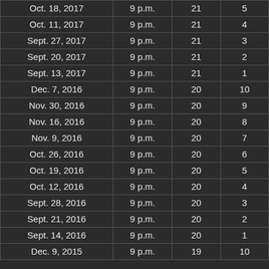| Oct. 18, 2017 | 9 p.m. | 21 | 5 |
| Oct. 11, 2017 | 9 p.m. | 21 | 4 |
| Sept. 27, 2017 | 9 p.m. | 21 | 3 |
| Sept. 20, 2017 | 9 p.m. | 21 | 2 |
| Sept. 13, 2017 | 9 p.m. | 21 | 1 |
| Dec. 7, 2016 | 9 p.m. | 20 | 10 |
| Nov. 30, 2016 | 9 p.m. | 20 | 9 |
| Nov. 16, 2016 | 9 p.m. | 20 | 8 |
| Nov. 9, 2016 | 9 p.m. | 20 | 7 |
| Oct. 26, 2016 | 9 p.m. | 20 | 6 |
| Oct. 19, 2016 | 9 p.m. | 20 | 5 |
| Oct. 12, 2016 | 9 p.m. | 20 | 4 |
| Sept. 28, 2016 | 9 p.m. | 20 | 3 |
| Sept. 21, 2016 | 9 p.m. | 20 | 2 |
| Sept. 14, 2016 | 9 p.m. | 20 | 1 |
| Dec. 9, 2015 | 9 p.m. | 19 | 10 |